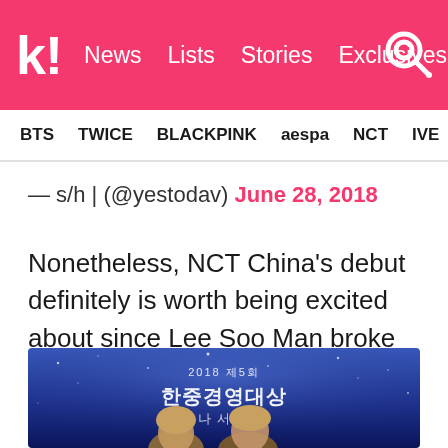k! News Lists Stories Exclusives
BTS TWICE BLACKPINK aespa NCT IVE SHIN
— s/h | (@yestodav) June 28, 2018
Nonetheless, NCT China's debut definitely is worth being excited about since Lee Soo Man broke the news himself! Stay tuned for updates!
[Figure (photo): Two young men in front of a blue banner with Korean text reading 2018 제5회 한중경영대상]